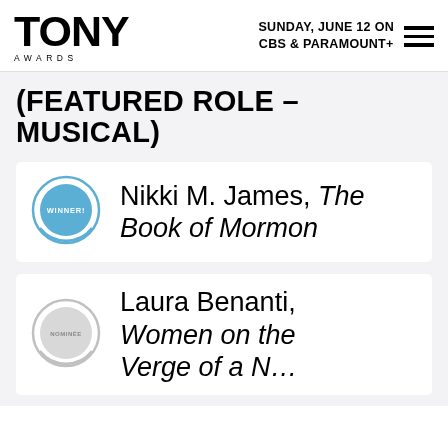TONY AWARDS — SUNDAY, JUNE 12 ON CBS & PARAMOUNT+
(FEATURED ROLE – MUSICAL)
Nikki M. James, The Book of Mormon — WINNER
Laura Benanti, Women on the Verge of a N… — NOMINATED